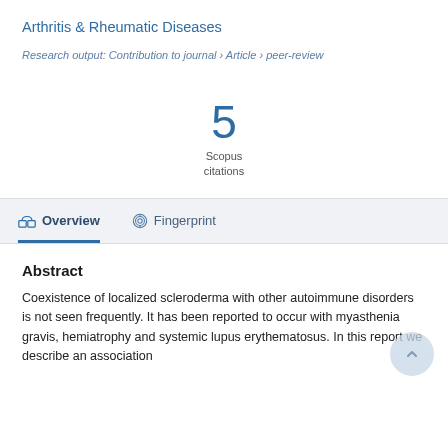Arthritis & Rheumatic Diseases
Research output: Contribution to journal › Article › peer-review
5
Scopus
citations
Overview
Fingerprint
Abstract
Coexistence of localized scleroderma with other autoimmune disorders is not seen frequently. It has been reported to occur with myasthenia gravis, hemiatrophy and systemic lupus erythematosus. In this report we describe an association